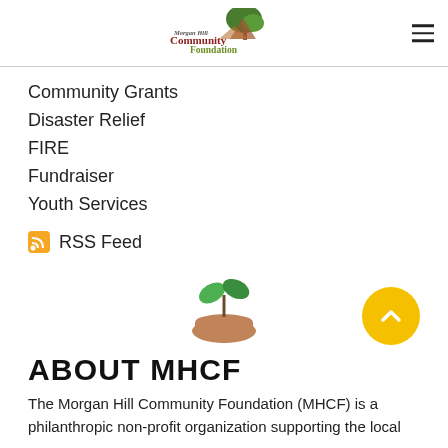Morgan Hill Community Foundation
Community Grants
Disaster Relief
FIRE
Fundraiser
Youth Services
RSS Feed
[Figure (illustration): A hand holding a green plant seedling icon]
ABOUT MHCF
The Morgan Hill Community Foundation (MHCF) is a philanthropic non-profit organization supporting the local